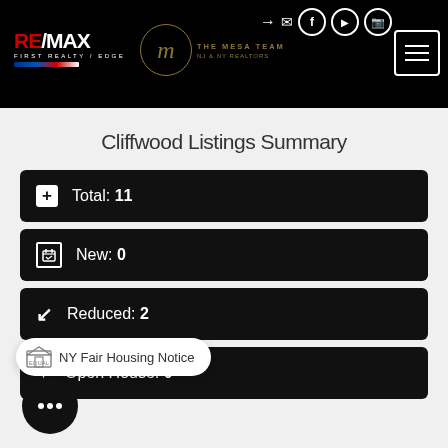RE/MAX First Realty / Edge — The Mesa Team header with navigation icons
Cliffwood Listings Summary
Total: 11
New: 0
Reduced: 2
Open House: 0
NY Fair Housing Notice